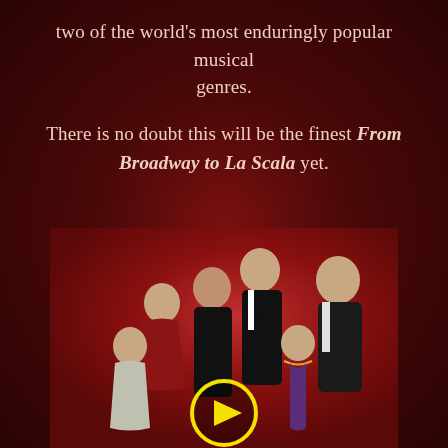two of the world's most enduringly popular musical genres.
There is no doubt this will be the finest From Broadway to La Scala yet.
[Figure (photo): Group photo of five performers dressed in formal attire against a red background, with a yellow play button overlay at the bottom center.]